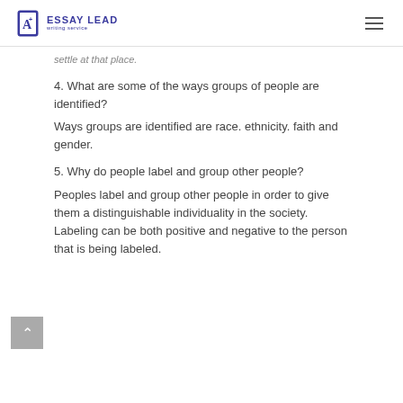ESSAY LEAD writing service
settle at that place.
4. What are some of the ways groups of people are identified?
Ways groups are identified are race. ethnicity. faith and gender.
5. Why do people label and group other people?
Peoples label and group other people in order to give them a distinguishable individuality in the society. Labeling can be both positive and negative to the person that is being labeled.